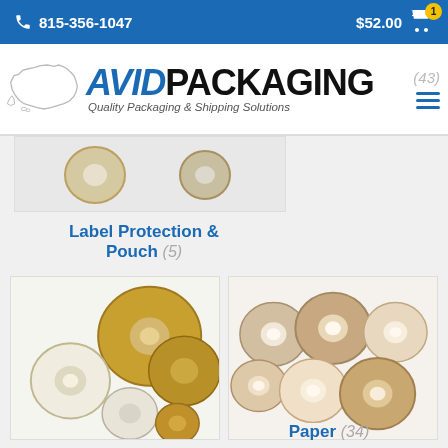📞 815-356-1047   $52.00 🛒(1)
[Figure (logo): Avid Packaging logo with US map outline, bold text 'AVID PACKAGING', tagline 'Quality Packaging & Shipping Solutions']
[Figure (photo): Product category thumbnail image - partially visible tape/packaging rolls]
Label Protection & Pouch (5)
[Figure (photo): Multiple rolls of clear and white packaging tape in various sizes]
[Figure (photo): Multiple rolls of brown/kraft paper tape in various sizes]
Paper (34)